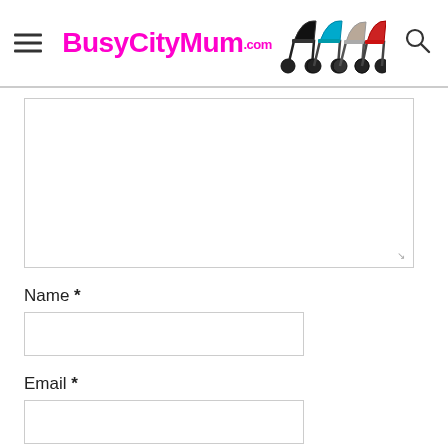BusyCityMum.com
[Figure (screenshot): Large empty textarea input box with resize handle at bottom right]
Name *
[Figure (screenshot): Empty text input field for Name]
Email *
[Figure (screenshot): Empty text input field for Email]